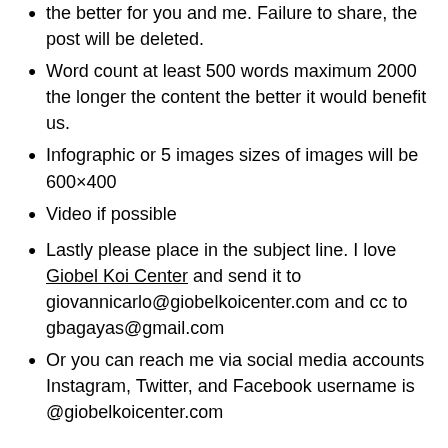the better for you and me. Failure to share, the post will be deleted.
Word count at least 500 words maximum 2000 the longer the content the better it would benefit us.
Infographic or 5 images sizes of images will be 600×400
Video if possible
Lastly please place in the subject line. I love Giobel Koi Center and send it to giovannicarlo@giobelkoicenter.com and cc to gbagayas@gmail.com
Or you can reach me via social media accounts Instagram, Twitter, and Facebook username is @giobelkoicenter.com